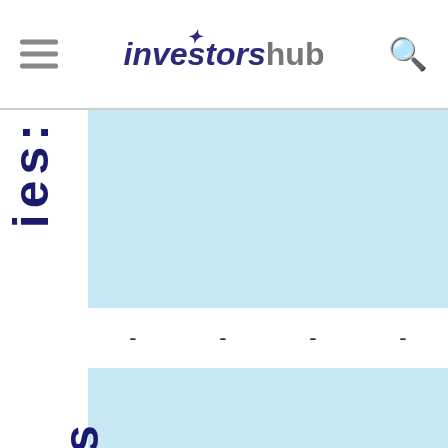investorshub
| ies: | - | - | - | - |
| Net Loss | - | - | - | - |
| Changes in |  |  |  |  |